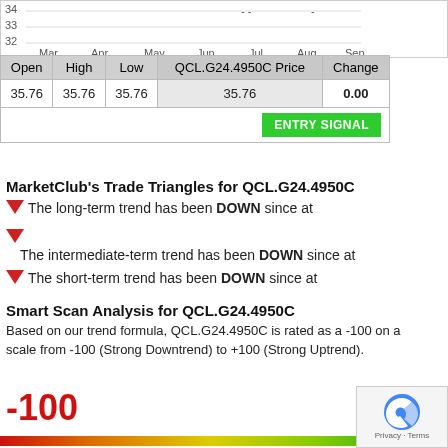[Figure (continuous-plot): Price chart for QCL.G24.4950C showing axis labels Mar, Apr, May, Jun, Jul, Aug, Sep and price levels 32, 33, with dashes indicating minimal price movement near top]
| Open | High | Low | QCL.G24.4950C Price | Change |
| --- | --- | --- | --- | --- |
| 35.76 | 35.76 | 35.76 | 35.76 | 0.00 |
MarketClub's Trade Triangles for QCL.G24.4950C
The long-term trend has been DOWN since at
The intermediate-term trend has been DOWN since at
The short-term trend has been DOWN since at
Smart Scan Analysis for QCL.G24.4950C
Based on our trend formula, QCL.G24.4950C is rated as a -100 on a scale from -100 (Strong Downtrend) to +100 (Strong Uptrend).
-100
[Figure (infographic): Gradient bar from red (left) to green (right) representing the -100 to +100 scale]